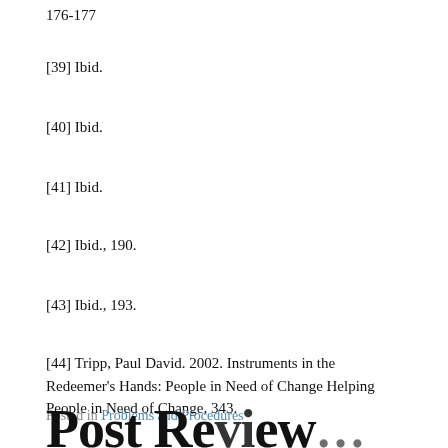176-177
[39] Ibid.
[40] Ibid.
[41] Ibid.
[42] Ibid., 190.
[43] Ibid., 193.
[44] Tripp, Paul David. 2002. Instruments in the Redeemer's Hands: People in Need of Change Helping People in Need of Change, 343.
Posted in Problems and Procedures
Post Re...